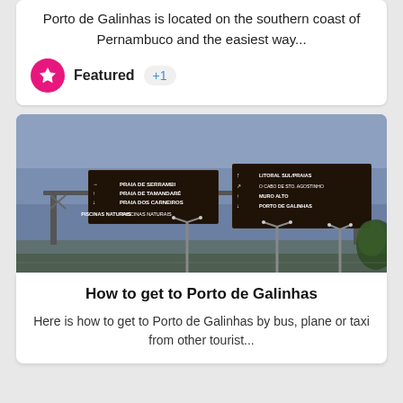Porto de Galinhas is located on the southern coast of Pernambuco and the easiest way...
Featured +1
[Figure (photo): Road direction signs on a highway gantry, showing directions to Praia de Serrambi, Praia de Tamandaré, Praia dos Carneiros, Piscinas Naturais on the left sign, and Litoral Sul/Praias, O Cabo de Sto. Agostinho, Muro Alto, Porto de Galinhas on the right sign. Blue-grey sky background with street lights and trees visible.]
How to get to Porto de Galinhas
Here is how to get to Porto de Galinhas by bus, plane or taxi from other tourist...